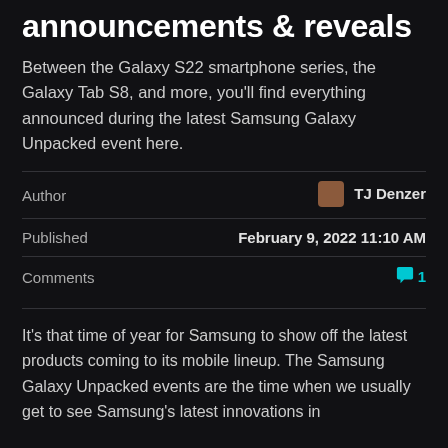announcements & reveals
Between the Galaxy S22 smartphone series, the Galaxy Tab S8, and more, you'll find everything announced during the latest Samsung Galaxy Unpacked event here.
|  |  |
| --- | --- |
| Author | TJ Denzer |
| Published | February 9, 2022 11:10 AM |
| Comments | 1 |
It's that time of year for Samsung to show off the latest products coming to its mobile lineup. The Samsung Galaxy Unpacked events are the time when we usually get to see Samsung's latest innovations in